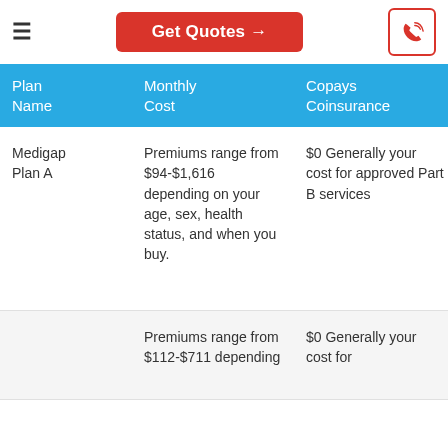Get Quotes →
| Plan Name | Monthly Cost | Copays Coinsurance | De... |
| --- | --- | --- | --- |
| Medigap Plan A | Premiums range from $94-$1,616 depending on your age, sex, health status, and when you buy. | $0 Generally your cost for approved Part B services | $1 Ho... (P... de... $2 Me... (P... de... |
|  | Premiums range from $112-$711 depending | $0 Generally your cost for | $0 (P... de... |